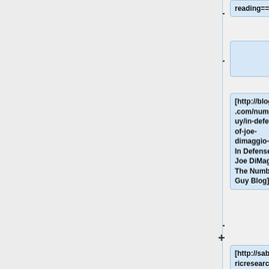reading===
[http://blogs.wsj.com/numbersguy/in-defense-of-joe-dimaggio-310/ In Defense of Joe DiMaggio. The Numbers Guy Blog].
[http://sabermetricresearch.blogspot.com/2008/04/carl-bialik-on-dimaggio-streak.html Carl Bialik on DiMaggio streak